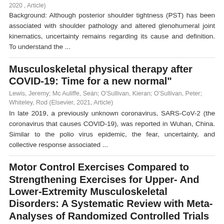2020 , Article)
Background: Although posterior shoulder tightness (PST) has been associated with shoulder pathology and altered glenohumeral joint kinematics, uncertainty remains regarding its cause and definition. To understand the ...
Musculoskeletal physical therapy after COVID-19: Time for a new normal"
Lewis, Jeremy; Mc Auliffe, Seán; O'Sullivan, Kieran; O'Sullivan, Peter; Whiteley, Rod (Elsevier, 2021, Article)
In late 2019, a previously unknown coronavirus, SARS-CoV-2 (the coronavirus that causes COVID-19), was reported in Wuhan, China. Similar to the polio virus epidemic, the fear, uncertainty, and collective response associated ...
Motor Control Exercises Compared to Strengthening Exercises for Upper- And Lower-Extremity Musculoskeletal Disorders: A Systematic Review with Meta-Analyses of Randomized Controlled Trials
Lafrance, Simon; Ouellet, Philippe; Alaoui, Reda; Roy, Jean-Sébastien;